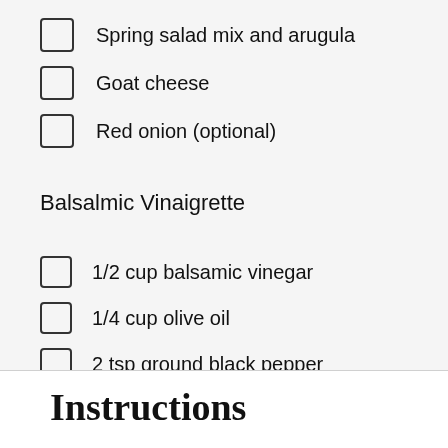Spring salad mix and arugula
Goat cheese
Red onion (optional)
Balsalmic Vinaigrette
1/2 cup balsamic vinegar
1/4 cup olive oil
2 tsp ground black pepper
1 tsp salt
Instructions